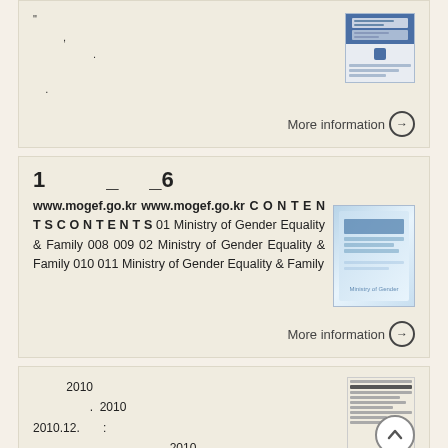More information →
1 _ _6
www.mogef.go.kr www.mogef.go.kr CONTENTS CONTENTS 01 Ministry of Gender Equality & Family 008 009 02 Ministry of Gender Equality & Family 010 011 Ministry of Gender Equality & Family
More information →
2010
. 2010
2010.12. :
2010